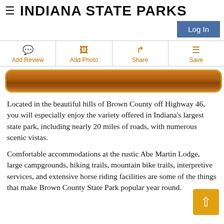INDIANA STATE PARKS
Log In
Add Review | Add Photo | Share | Save
[Figure (illustration): Brown wooden bar/banner with rounded ends, decorative horizontal stripe]
Located in the beautiful hills of Brown County off Highway 46, you will especially enjoy the variety offered in Indiana’s largest state park, including nearly 20 miles of roads, with numerous scenic vistas.
Comfortable accommodations at the rustic Abe Martin Lodge, large campgrounds, hiking trails, mountain bike trails, interpretive services, and extensive horse riding facilities are some of the things that make Brown County State Park popular year round.